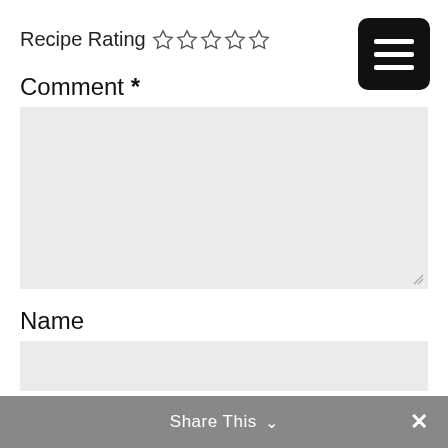Recipe Rating ☆☆☆☆☆
[Figure (other): Black rounded square menu/hamburger button with three white horizontal lines]
Comment *
[Figure (other): Large light grey comment textarea input box]
Name
[Figure (other): Light grey single-line Name text input box]
Email
[Figure (other): Grey Share This bar with chevron and close X button at bottom of page]